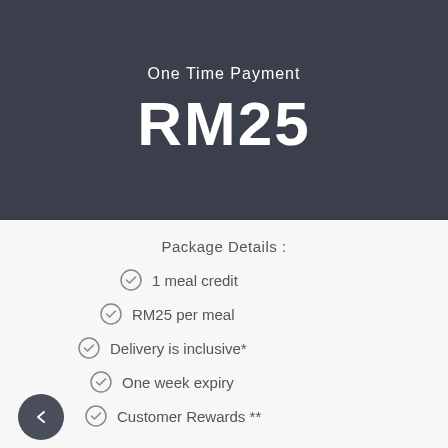One Time Payment
RM25
Package Details :
1 meal credit
RM25 per meal
Delivery is inclusive*
One week expiry
Customer Rewards **